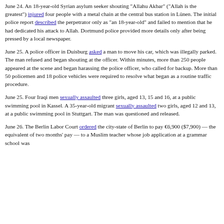June 24. An 18-year-old Syrian asylum seeker shouting "Allahu Akbar" ("Allah is the greatest") injured four people with a metal chain at the central bus station in Lünen. The initial police report described the perpetrator only as "an 18-year-old" and failed to mention that he had dedicated his attack to Allah. Dortmund police provided more details only after being pressed by a local newspaper.
June 25. A police officer in Duisburg asked a man to move his car, which was illegally parked. The man refused and began shouting at the officer. Within minutes, more than 250 people appeared at the scene and began harassing the police officer, who called for backup. More than 50 policemen and 18 police vehicles were required to resolve what began as a routine traffic procedure.
June 25. Four Iraqi men sexually assaulted three girls, aged 13, 15 and 16, at a public swimming pool in Kassel. A 35-year-old migrant sexually assaulted two girls, aged 12 and 13, at a public swimming pool in Stuttgart. The man was questioned and released.
June 26. The Berlin Labor Court ordered the city-state of Berlin to pay €6,900 ($7,900) — the equivalent of two months' pay — to a Muslim teacher whose job application at a grammar school was...